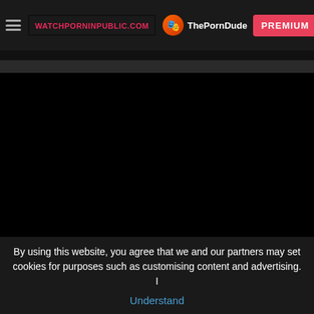WATCHPORNINPUBLIC.COM | ThePornDude | PREMIUM
[Figure (screenshot): Black video player area, fully black/empty]
By using this website, you agree that we and our partners may set cookies for purposes such as customising content and advertising. I Understand